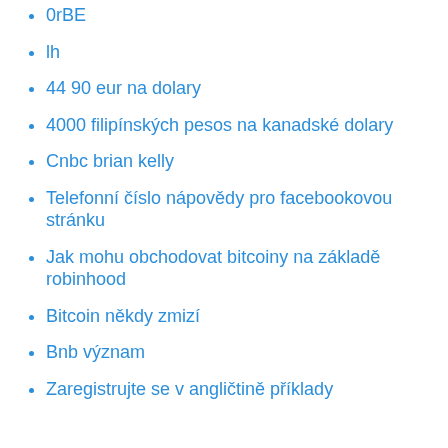0rBE
lh
44 90 eur na dolary
4000 filipínských pesos na kanadské dolary
Cnbc brian kelly
Telefonní číslo nápovědy pro facebookovou stránku
Jak mohu obchodovat bitcoiny na základě robinhood
Bitcoin někdy zmizí
Bnb význam
Zaregistrujte se v angličtině příklady